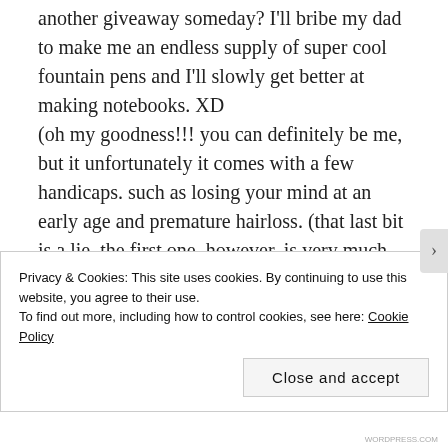another giveaway someday? I'll bribe my dad to make me an endless supply of super cool fountain pens and I'll slowly get better at making notebooks. XD
(oh my goodness!!! you can definitely be me, but it unfortunately it comes with a few handicaps. such as losing your mind at an early age and premature hairloss. (that last bit is a lie. the first one, however, is very much real.)
Privacy & Cookies: This site uses cookies. By continuing to use this website, you agree to their use.
To find out more, including how to control cookies, see here: Cookie Policy
Close and accept
WORDPRESS.COM